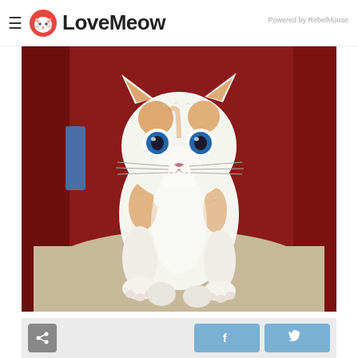LoveMeow — Powered by RebelMouse
[Figure (photo): A small white and orange kitten with bright blue eyes sitting upright on a beige blanket against a red background, looking directly at the camera.]
[Figure (other): Social sharing bar with share button, Facebook button, and Twitter button]